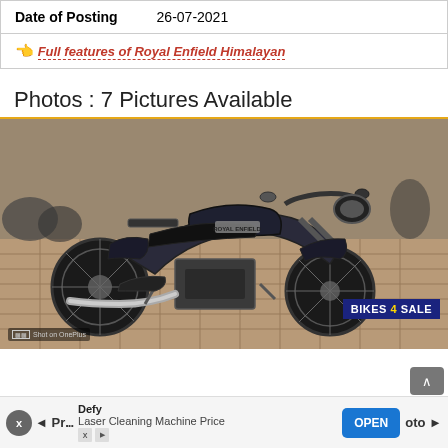Date of Posting   26-07-2021
👆 Full features of Royal Enfield Himalayan
Photos : 7 Pictures Available
[Figure (photo): A dark blue/black Royal Enfield Himalayan motorcycle parked on interlocked brick/paver tiles outdoors. Other bikes visible in background. 'BIKES 4 SALE' badge in bottom right corner. 'Shot on OnePlus' watermark in bottom left.]
◄ Pr...   Defy Laser Cleaning Machine Price   OPEN   oto ►